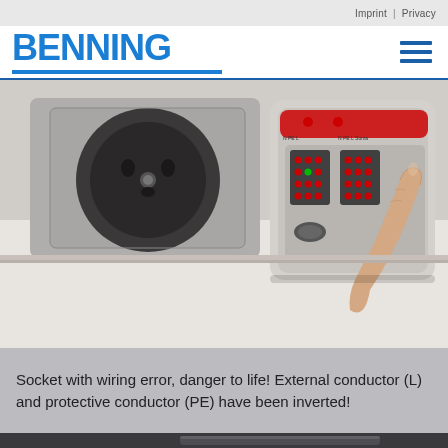Imprint | Privacy
[Figure (logo): BENNING company logo in blue with horizontal bar beneath, and hamburger menu icon on the right]
[Figure (photo): A hand pressing a button on a socket tester device plugged into a wall outlet. The device shows red LED indicators. A European wall socket is visible to the left.]
Socket with wiring error, danger to life! External conductor (L) and protective conductor (PE) have been inverted!
[Figure (photo): Bottom strip showing dark gray surface of a device or panel]